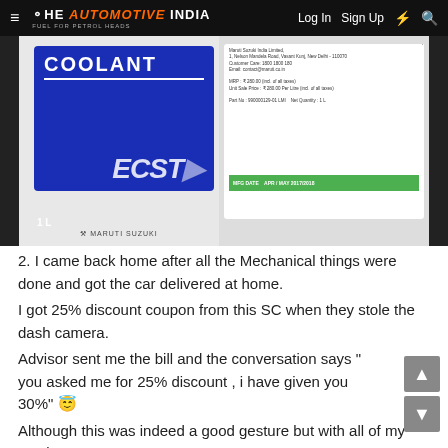The Automotive India | Log In | Sign Up
[Figure (photo): Two white plastic bottles of Maruti Suzuki ECSTAR Coolant (1L each). The left bottle shows a blue front label reading COOLANT ECSTAR with 1L marking and Maruti Suzuki logo. The right bottle shows the back label with product details, MRP, and a green MFG DATE strip.]
2. I came back home after all the Mechanical things were done and got the car delivered at home.
I got 25% discount coupon from this SC when they stole the dash camera.
Advisor sent me the bill and the conversation says " you asked me for 25% discount , i have given you 30%" 😇
Although this was indeed a good gesture but with all of my service center